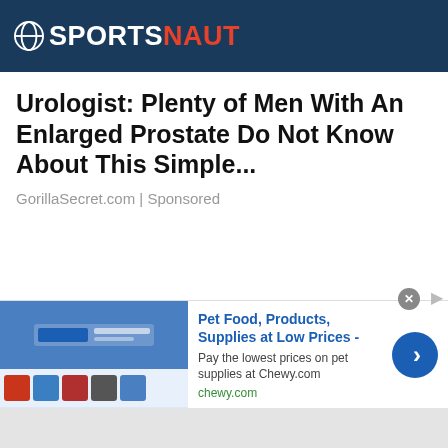SPORTSNAUT
Urologist: Plenty of Men With An Enlarged Prostate Do Not Know About This Simple...
GorillaSecret.com | Sponsored
[Figure (screenshot): Chewy.com advertisement banner showing pet food products with blue arrow button]
Pet Food, Products, Supplies at Low Prices -
Pay the lowest prices on pet supplies at Chewy.com
chewy.com